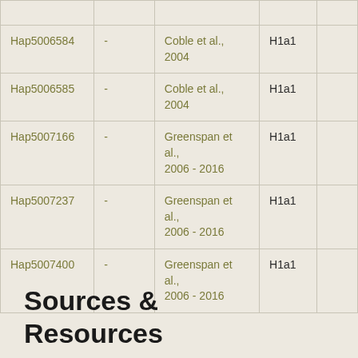|  |  |  |  |  |
| --- | --- | --- | --- | --- |
| Hap5006584 | - | Coble et al., 2004 | H1a1 |  |
| Hap5006585 | - | Coble et al., 2004 | H1a1 |  |
| Hap5007166 | - | Greenspan et al., 2006 - 2016 | H1a1 |  |
| Hap5007237 | - | Greenspan et al., 2006 - 2016 | H1a1 |  |
| Hap5007400 | - | Greenspan et al., 2006 - 2016 | H1a1 |  |
Sources & Resources